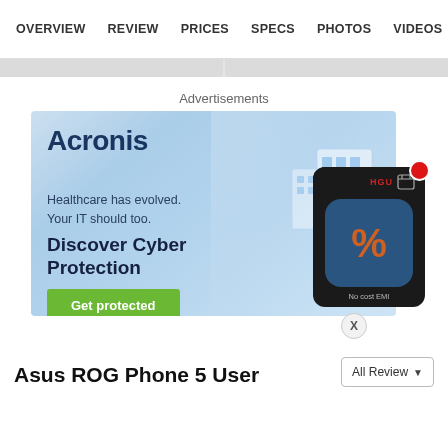OVERVIEW   REVIEW   PRICES   SPECS   PHOTOS   VIDEOS
Advertisements
[Figure (screenshot): Acronis advertisement banner with light blue gradient background, Acronis logo, text 'Healthcare has evolved. Your IT should too. Discover Cyber Protection', green 'Get protected' button, illustrated white building/server icon, overlaid app store badge with percentage icon and red notification dot, and X close button]
Asus ROG Phone 5 User
All Review